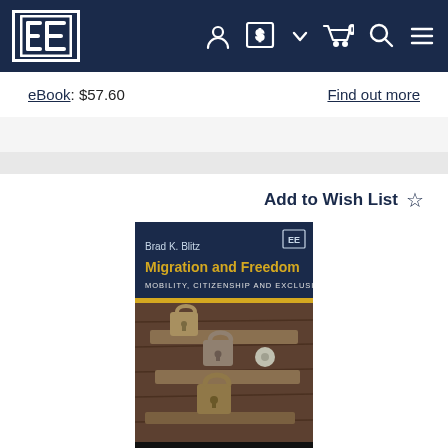[Figure (logo): Edward Elgar Publishing logo - EE in white text with border, on navy background navigation bar with user account, currency selector, cart, search, and menu icons]
eBook: $57.60
Find out more
Add to Wish List ☆
[Figure (photo): Book cover of 'Migration and Freedom: Mobility, Citizenship and Exclusion' by Brad K. Blitz, published by Edward Elgar. Dark blue top section with author name and EE logo, gold title text, subtitle in white. Bottom section shows padlocks on weathered wooden planks.]